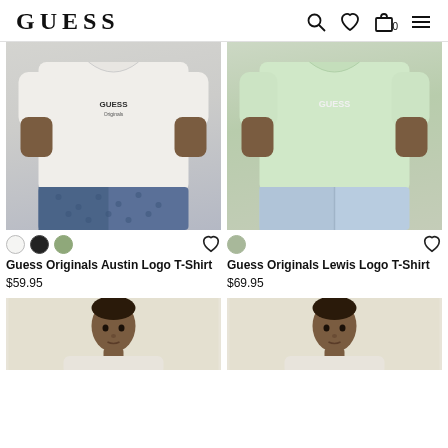GUESS
[Figure (photo): Man wearing white Guess logo t-shirt with blue patterned shorts]
[Figure (photo): Man wearing light green/mint Guess logo t-shirt with light blue jeans]
Guess Originals Austin Logo T-Shirt
$59.95
Guess Originals Lewis Logo T-Shirt
$69.95
[Figure (photo): Man wearing a t-shirt, head/shoulders shown, beige background]
[Figure (photo): Man wearing a t-shirt, head/shoulders shown, beige background]